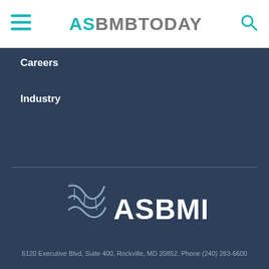ASBMBTODAY
Careers
Industry
[Figure (logo): ASBMB logo with double-helix DNA icon and text ASBMB in white on dark blue background]
6120 Executive Blvd, Suite 400, Rockville, MD 20852. Phone (240) 283-6600